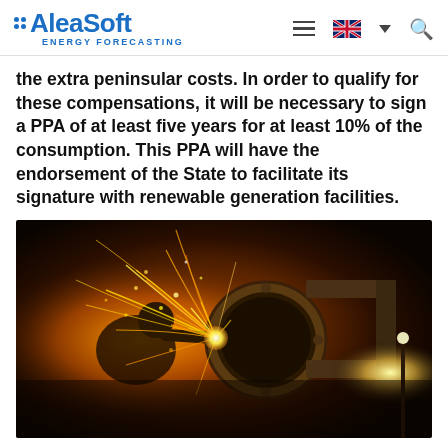AleaSoft ENERGY FORECASTING
the extra peninsular costs. In order to qualify for these compensations, it will be necessary to sign a PPA of at least five years for at least 10% of the consumption. This PPA will have the endorsement of the State to facilitate its signature with renewable generation facilities.
[Figure (photo): Industrial worker grinding metal with sparks flying at night, large industrial equipment visible in background]